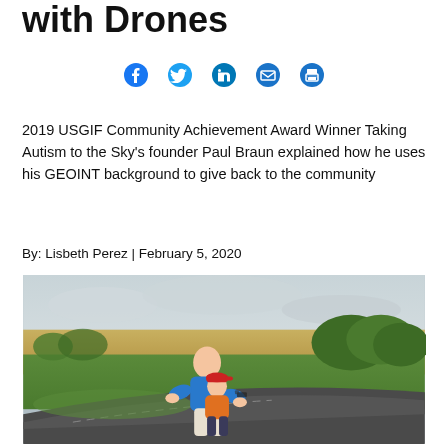with Drones
[Figure (other): Social media share icons: Facebook, Twitter, LinkedIn, Email, Print]
2019 USGIF Community Achievement Award Winner Taking Autism to the Sky's founder Paul Braun explained how he uses his GEOINT background to give back to the community
By: Lisbeth Perez | February 5, 2020
[Figure (photo): A man in a blue shirt and a child in an orange shirt with a red cap standing on a rural road, surrounded by green fields and trees under an overcast sky.]